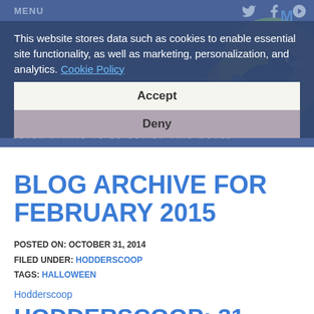MENU
This website stores data such as cookies to enable essential site functionality, as well as marketing, personalization, and analytics. Cookie Policy
Accept
Deny
[Figure (logo): Hodderscape logo with dodo bird illustration and tagline NEVER AFRAID TO BE OUT OF THIS WORLD]
BLOG ARCHIVE FOR FEBRUARY 2015
POSTED ON: OCTOBER 31, 2014
FILED UNDER: HODDERSCOOP
TAGS: HALLOWEEN
Hodderscoop
HODDERSCOOP: 31